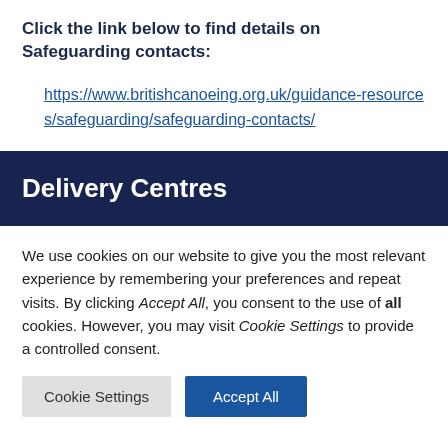Click the link below to find details on Safeguarding contacts:
https://www.britishcanoeing.org.uk/guidance-resources/safeguarding/safeguarding-contacts/
Delivery Centres
We use cookies on our website to give you the most relevant experience by remembering your preferences and repeat visits. By clicking Accept All, you consent to the use of all cookies. However, you may visit Cookie Settings to provide a controlled consent.
Cookie Settings | Accept All